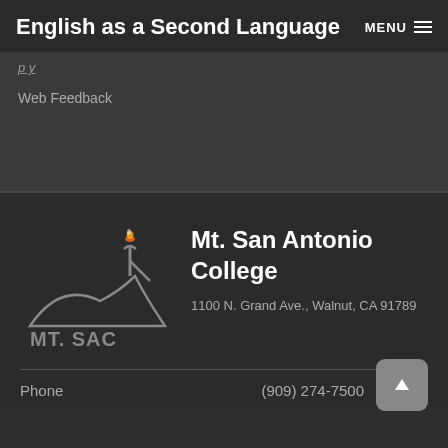English as a Second Language
Web Feedback
[Figure (logo): Mt. SAC logo — stylized mountain silhouette with torch and flame, text MT. SAC]
Mt. San Antonio College
1100 N. Grand Ave., Walnut, CA 91789
Phone (909) 274-7500